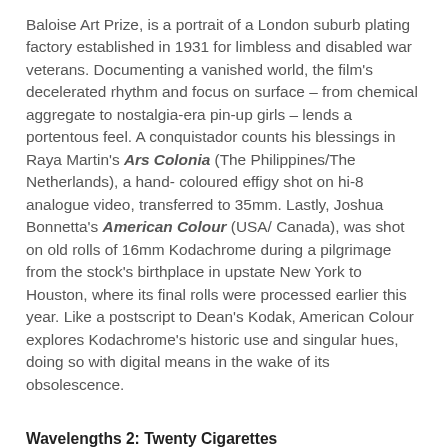Baloise Art Prize, is a portrait of a London suburb plating factory established in 1931 for limbless and disabled war veterans. Documenting a vanished world, the film's decelerated rhythm and focus on surface – from chemical aggregate to nostalgia-era pin-up girls – lends a portentous feel. A conquistador counts his blessings in Raya Martin's Ars Colonia (The Philippines/The Netherlands), a hand-coloured effigy shot on hi-8 analogue video, transferred to 35mm. Lastly, Joshua Bonnetta's American Colour (USA/Canada), was shot on old rolls of 16mm Kodachrome during a pilgrimage from the stock's birthplace in upstate New York to Houston, where its final rolls were processed earlier this year. Like a postscript to Dean's Kodak, American Colour explores Kodachrome's historic use and singular hues, doing so with digital means in the wake of its obsolescence.
Wavelengths 2: Twenty Cigarettes
In James Benning's Twenty Cigarettes (USA), a pack of twenty cigarettes is consumed by twenty different smokers – friends and acquaintances from Montreal to Seoul. Ostensibly a film about duration, Twenty Cigarettes is